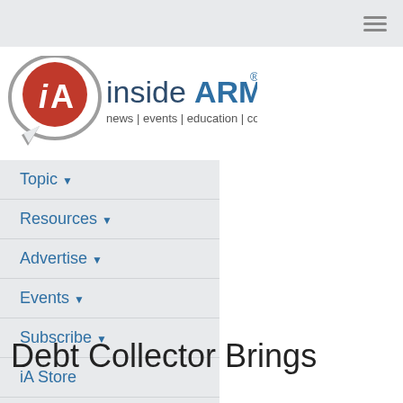insideARM — news | events | education | connection
[Figure (logo): insideARM logo with iA icon in circle and tagline: news | events | education | connection]
Topic ▾
Resources ▾
Advertise ▾
Events ▾
Subscribe ▾
iA Store
Jobs
Debt Collector Brings